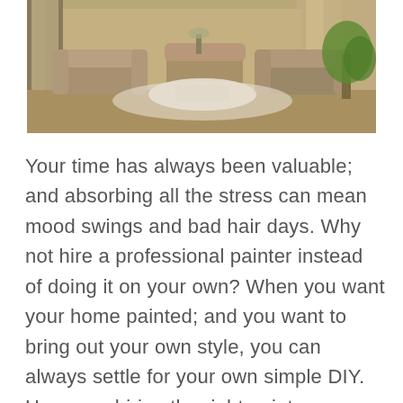[Figure (photo): Interior living room photo showing beige/taupe sofas arranged around a white coffee table on a light rug, with curtains and a green plant visible in the background.]
Your time has always been valuable; and absorbing all the stress can mean mood swings and bad hair days. Why not hire a professional painter instead of doing it on your own? When you want your home painted; and you want to bring out your own style, you can always settle for your own simple DIY. However, hiring the right paint contractors can help you ease out the tension in more than half. With the help of professional paint contractors, you can easily rely on having the work done, without all the hustle and bustle.